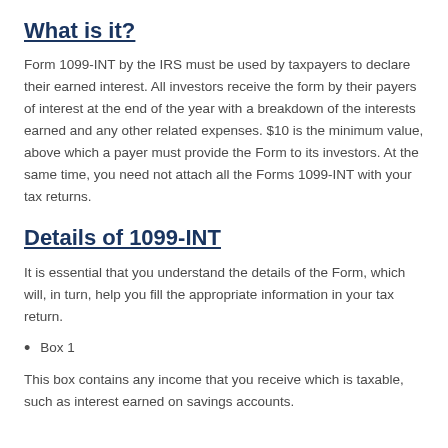What is it?
Form 1099-INT by the IRS must be used by taxpayers to declare their earned interest. All investors receive the form by their payers of interest at the end of the year with a breakdown of the interests earned and any other related expenses. $10 is the minimum value, above which a payer must provide the Form to its investors. At the same time, you need not attach all the Forms 1099-INT with your tax returns.
Details of 1099-INT
It is essential that you understand the details of the Form, which will, in turn, help you fill the appropriate information in your tax return.
Box 1
This box contains any income that you receive which is taxable, such as interest earned on savings accounts.